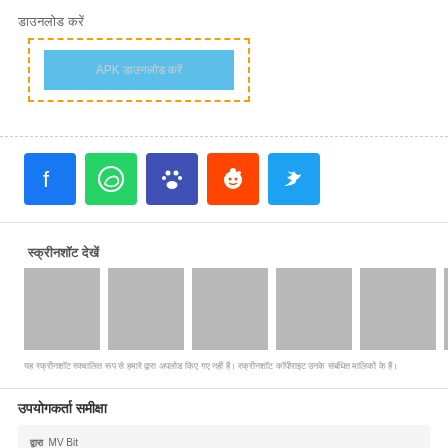डाउनलोड करें
[Figure (screenshot): APK download button inside orange dashed border box]
[Figure (infographic): Social share icons row: Facebook (blue), WhatsApp (green), paw/app (dark blue), Reddit (orange), Twitter (light blue)]
स्क्रीनशॉट देखें
[Figure (screenshot): Row of 5+ grey placeholder screenshot thumbnails]
यह स्क्रीनशॉट स्वचालित रूप से हमारे द्वारा अपलोड किए गए नहीं हैं। स्क्रीनशॉट कॉपीराइट उनके संबंधित मालिकों के हैं।
उपयोगकर्ता समीक्षा
MV Bit